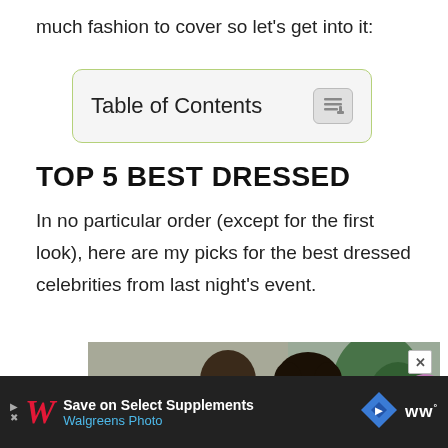much fashion to cover so let's get into it:
Table of Contents
Top 5 Best Dressed
In no particular order (except for the first look), here are my picks for the best dressed celebrities from last night's event.
[Figure (photo): Two people, a man with glasses and a woman, in a room with a plant in the background.]
Save on Select Supplements Walgreens Photo